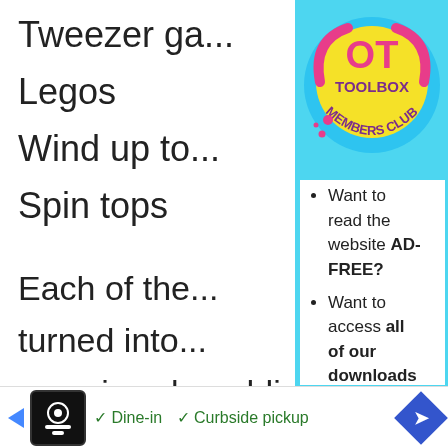Tweezer ga...
Legos
Wind up toy...
Spin tops
Each of the... turned into... exercises by adding a timed component. Try to encourage your child/...
[Figure (logo): OT Toolbox Members Club logo - yellow and blue circle with pink accents]
Want to read the website AD-FREE?
Want to access all of our downloads in one place?
Want done for you therapy tools and materials
JOIN THE OT TOOLBOX MEMBER'S CLUB!
[Figure (screenshot): Ad bar at bottom showing restaurant options: Dine-in, Curbside pickup]